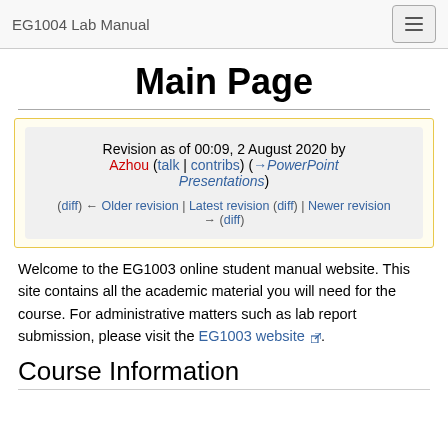EG1004 Lab Manual
Main Page
Revision as of 00:09, 2 August 2020 by Azhou (talk | contribs) (→PowerPoint Presentations)
(diff) ← Older revision | Latest revision (diff) | Newer revision → (diff)
Welcome to the EG1003 online student manual website. This site contains all the academic material you will need for the course. For administrative matters such as lab report submission, please visit the EG1003 website.
Course Information